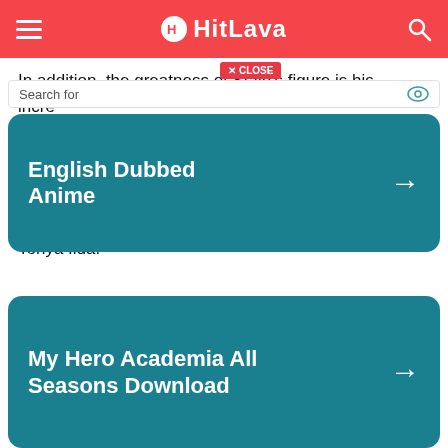HitLava
In addition, the greatness of Stain's figure is his incre[dible]...
[Figure (screenshot): Advertisement overlay with 'Search for' bar, close button, and two teal ad cards: 'English Dubbed Anime' and 'My Hero Academia All Seasons Download', with Yahoo! Search | Sponsored bar at bottom]
Even [though]... or catch[...]
Stain [...]he is able t[o...]eir blood[...]
Deku [...] has to join forces with Shoto Todoroki and Tenya Iida.
Even though he has joined other heroes, in fact Stain is still not easy to beat.